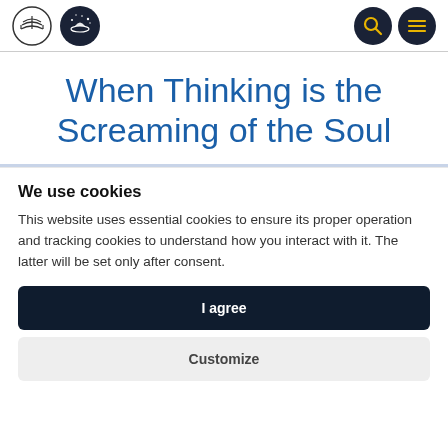[Figure (logo): Book logo (open book in circle) and magic/stars logo (dark circle with hand and stars)]
When Thinking is the Screaming of the Soul
We use cookies
This website uses essential cookies to ensure its proper operation and tracking cookies to understand how you interact with it. The latter will be set only after consent.
I agree
Customize